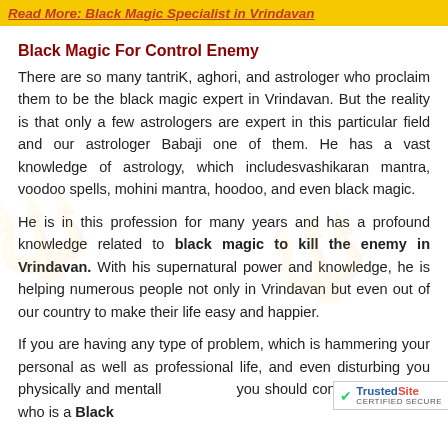Read More: Black Magic Specialist in Vrindavan
Black Magic For Control Enemy
There are so many tantriK, aghori, and astrologer who proclaim them to be the black magic expert in Vrindavan. But the reality is that only a few astrologers are expert in this particular field and our astrologer Babaji one of them. He has a vast knowledge of astrology, which includesvashikaran mantra, voodoo spells, mohini mantra, hoodoo, and even black magic.
He is in this profession for many years and has a profound knowledge related to black magic to kill the enemy in Vrindavan. With his supernatural power and knowledge, he is helping numerous people not only in Vrindavan but even out of our country to make their life easy and happier.
If you are having any type of problem, which is hammering your personal as well as professional life, and even disturbing you physically and mentally, you should contact our guru ji who is a Black